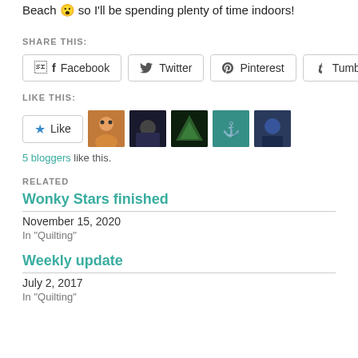Beach 😮 so I'll be spending plenty of time indoors!
SHARE THIS:
Facebook  Twitter  Pinterest  Tumblr
LIKE THIS:
★ Like  [5 blogger avatars]
5 bloggers like this.
RELATED
Wonky Stars finished
November 15, 2020
In "Quilting"
Weekly update
July 2, 2017
In "Quilting"